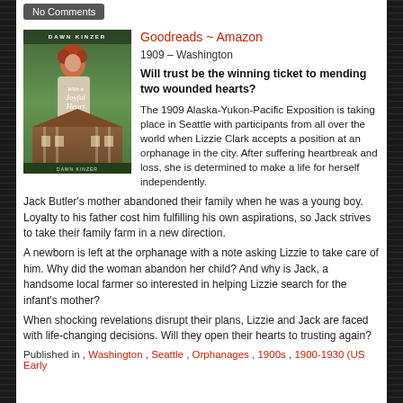No Comments
Goodreads ~ Amazon
1909 – Washington
Will trust be the winning ticket to mending two wounded hearts?
[Figure (photo): Book cover for 'With a Joyful Heart' by Dawn Kinzer, showing a woman with red hair in period dress and a large house in the background]
The 1909 Alaska-Yukon-Pacific Exposition is taking place in Seattle with participants from all over the world when Lizzie Clark accepts a position at an orphanage in the city. After suffering heartbreak and loss, she is determined to make a life for herself independently.
Jack Butler's mother abandoned their family when he was a young boy. Loyalty to his father cost him fulfilling his own aspirations, so Jack strives to take their family farm in a new direction.
A newborn is left at the orphanage with a note asking Lizzie to take care of him. Why did the woman abandon her child? And why is Jack, a handsome local farmer so interested in helping Lizzie search for the infant's mother?
When shocking revelations disrupt their plans, Lizzie and Jack are faced with life-changing decisions. Will they open their hearts to trusting again?
Published in , Washington , Seattle , Orphanages , 1900s , 1900-1930 (US Early